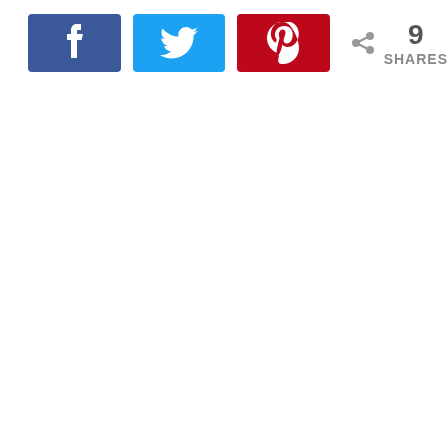[Figure (infographic): Social sharing toolbar with Facebook (blue), Twitter (cyan), and Pinterest (red) buttons, plus a share count showing 9 SHARES with a share icon.]